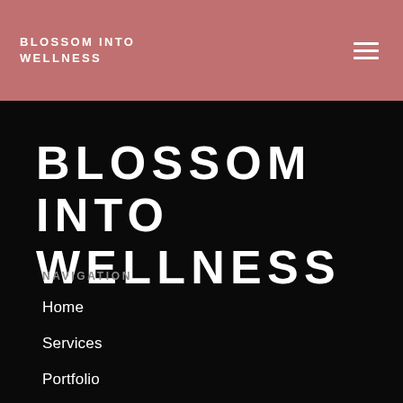BLOSSOM INTO WELLNESS
BLOSSOM INTO WELLNESS
NAVIGATION
Home
Services
Portfolio
Blog
Work with me